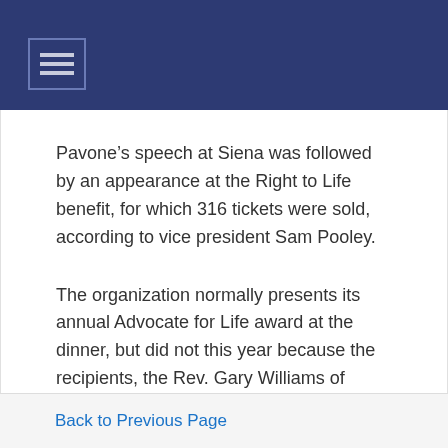Pavone’s speech at Siena was followed by an appearance at the Right to Life benefit, for which 316 tickets were sold, according to vice president Sam Pooley.
The organization normally presents its annual Advocate for Life award at the dinner, but did not this year because the recipients, the Rev. Gary Williams of Tecumseh and his wife, Barb, were out of town.
Back to Previous Page